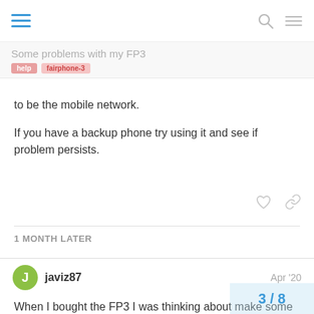Some problems with my FP3
to be the mobile network.
If you have a backup phone try using it and see if problem persists.
1 MONTH LATER
javiz87  Apr '20
When I bought the FP3 I was thinking about make some kind of change.
3 / 8